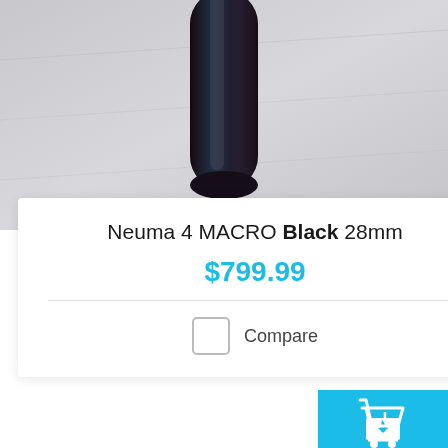[Figure (photo): Close-up photo of the tip of a Neuma 4 MACRO Black 28mm pen/device, dark maroon/black colored tip against light gray background]
Neuma 4 MACRO Black 28mm
$799.99
Compare
[Figure (infographic): Shopping cart widget showing 0 items with checkout button. Cyan/blue background with white cart icon, count 0, ITEMS label, and black CHECKOUT button.]
[Figure (photo): Close-up photo of the body of a Neuma 4 MACRO Black 28mm device — metallic silver/purple barrel with black ribbed cap at top]